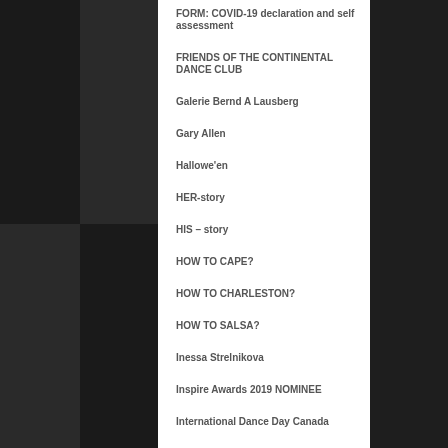FORM: COVID-19 declaration and self assessment
FRIENDS OF THE CONTINENTAL DANCE CLUB
Galerie Bernd A Lausberg
Gary Allen
Hallowe'en
HER-story
HIS – story
HOW TO CAPE?
HOW TO CHARLESTON?
HOW TO SALSA?
Inessa Strelnikova
Inspire Awards 2019 NOMINEE
International Dance Day Canada
International Dnce Day Canada